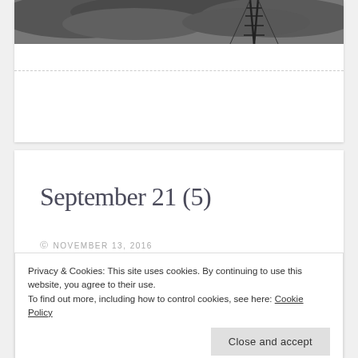[Figure (photo): Black and white photograph of a tower or mast structure against a dark cloudy sky]
September 21 (5)
© NOVEMBER 13, 2016
Privacy & Cookies: This site uses cookies. By continuing to use this website, you agree to their use.
To find out more, including how to control cookies, see here: Cookie Policy
Close and accept